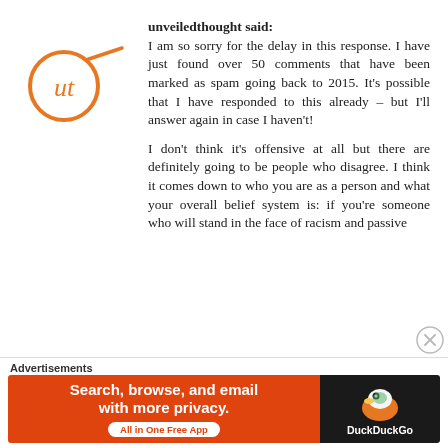[Figure (logo): Orange circle logo with stylized 'ut' script letters inside and a diagonal line extending to the right, orange color]
unveiledthought said:
I am so sorry for the delay in this response. I have just found over 50 comments that have been marked as spam going back to 2015. It's possible that I have responded to this already – but I'll answer again in case I haven't!

I don't think it's offensive at all but there are definitely going to be people who disagree. I think it comes down to who you are as a person and what your overall belief system is: if you're someone who will stand in the face of racism and passive
Advertisements
[Figure (screenshot): DuckDuckGo advertisement banner: orange background with text 'Search, browse, and email with more privacy. All in One Free App' and DuckDuckGo duck logo on dark background on the right side]